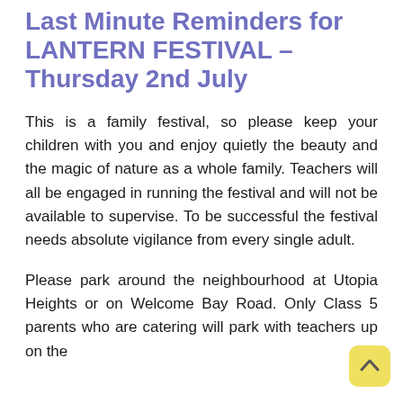Last Minute Reminders for LANTERN FESTIVAL – Thursday 2nd July
This is a family festival, so please keep your children with you and enjoy quietly the beauty and the magic of nature as a whole family. Teachers will all be engaged in running the festival and will not be available to supervise. To be successful the festival needs absolute vigilance from every single adult.
Please park around the neighbourhood at Utopia Heights or on Welcome Bay Road. Only Class 5 parents who are catering will park with teachers up on the